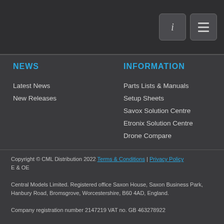[Header bar with navigation buttons]
NEWS
Latest News
New Releases
INFORMATION
Parts Lists & Manuals
Setup Sheets
Savox Solution Centre
Etronix Solution Centre
Drone Compare
Copyright © CML Distribution 2022 Terms & Conditions | Privacy Policy E & OE

Central Models Limited. Registered office Saxon House, Saxon Business Park, Hanbury Road, Bromsgrove, Worcestershire, B60 4AD, England.

Company registration number 2147219 VAT no. GB 463278922